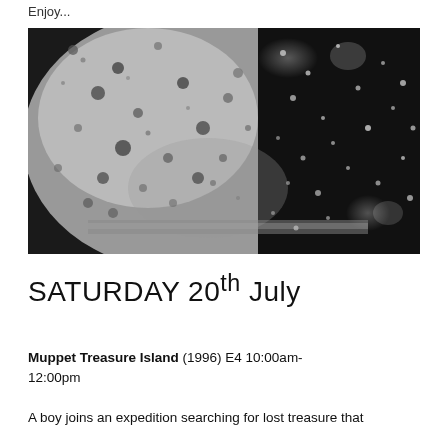Enjoy...
[Figure (photo): Black and white close-up photograph of rain droplets on a glass window pane, with a dark background on the right side and lighter grey tones on the left.]
SATURDAY 20th July
Muppet Treasure Island (1996) E4 10:00am-12:00pm
A boy joins an expedition searching for lost treasure that